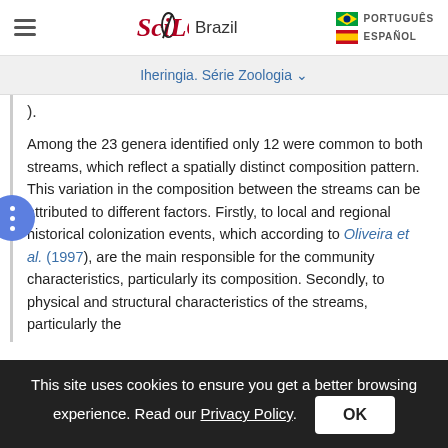SciELO Brazil | PORTUGUÊS | ESPAÑOL
Iheringia. Série Zoologia
).
Among the 23 genera identified only 12 were common to both streams, which reflect a spatially distinct composition pattern. This variation in the composition between the streams can be attributed to different factors. Firstly, to local and regional historical colonization events, which according to Oliveira et al. (1997), are the main responsible for the community characteristics, particularly its composition. Secondly, to physical and structural characteristics of the streams, particularly the
This site uses cookies to ensure you get a better browsing experience. Read our Privacy Policy.